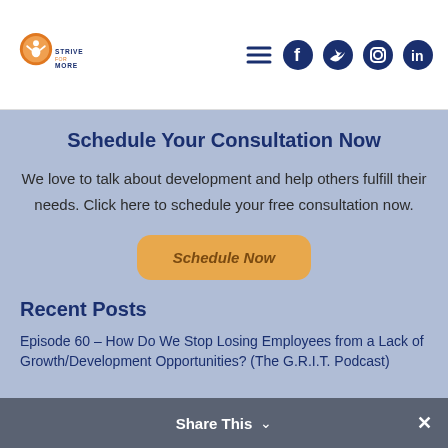Strive for More - navigation header with logo and social media icons
Schedule Your Consultation Now
We love to talk about development and help others fulfill their needs. Click here to schedule your free consultation now.
[Figure (other): Orange rounded button labeled 'Schedule Now']
Recent Posts
Episode 60 – How Do We Stop Losing Employees from a Lack of Growth/Development Opportunities? (The G.R.I.T. Podcast)
Share This